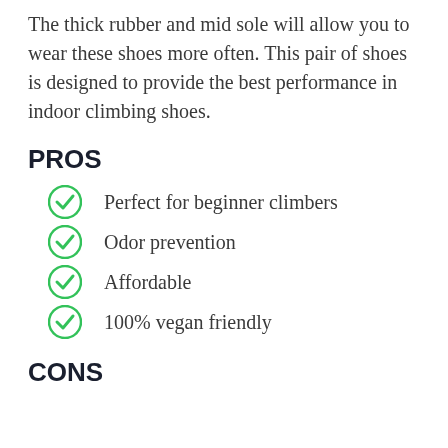The thick rubber and mid sole will allow you to wear these shoes more often. This pair of shoes is designed to provide the best performance in indoor climbing shoes.
PROS
Perfect for beginner climbers
Odor prevention
Affordable
100% vegan friendly
CONS